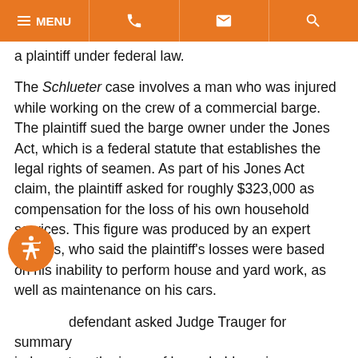MENU [phone] [email] [search]
a plaintiff under federal law.
The Schlueter case involves a man who was injured while working on the crew of a commercial barge. The plaintiff sued the barge owner under the Jones Act, which is a federal statute that establishes the legal rights of seamen. As part of his Jones Act claim, the plaintiff asked for roughly $323,000 as compensation for the loss of his own household services. This figure was produced by an expert witness, who said the plaintiff's losses were based on his inability to perform house and yard work, as well as maintenance on his cars.
The defendant asked Judge Trauger for summary judgment on the issue of household services damages. The defense argued that the judge's prior decision in the Southwest case should apply here.